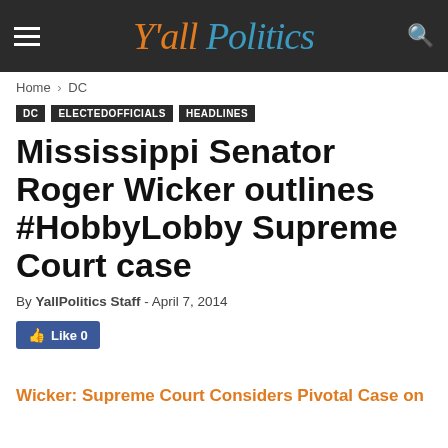Y'all Politics
Home › DC
DC  ELECTEDOFFICIALS  HEADLINES
Mississippi Senator Roger Wicker outlines #HobbyLobby Supreme Court case
By YallPolitics Staff - April 7, 2014
Like 0
Wicker: Supreme Court Considers Pivotal Case on